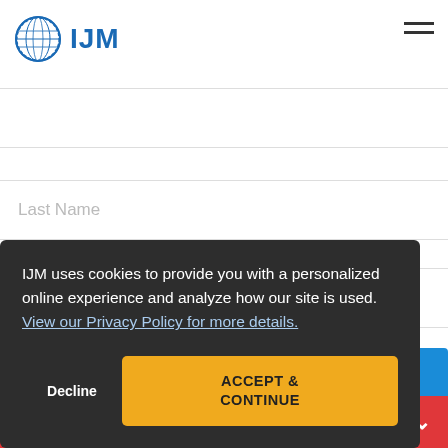[Figure (logo): IJM logo with globe and text 'IJM' in blue]
Last Name
Email Address
IJM uses cookies to provide you with a personalized online experience and analyze how our site is used. View our Privacy Policy for more details.
Decline
ACCEPT & CONTINUE